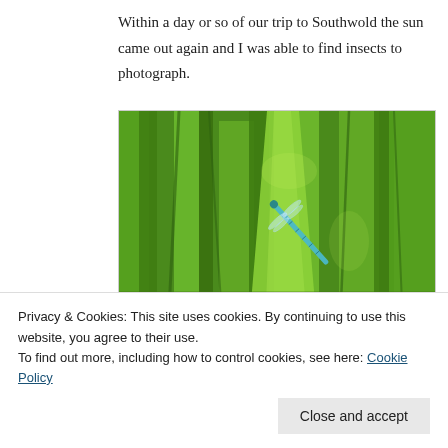Within a day or so of our trip to Southwold the sun came out again and I was able to find insects to photograph.
[Figure (photo): Close-up photograph of a damselfly (blue) resting on a green grass stem, surrounded by lush green vegetation.]
Privacy & Cookies: This site uses cookies. By continuing to use this website, you agree to their use.
To find out more, including how to control cookies, see here: Cookie Policy
Close and accept